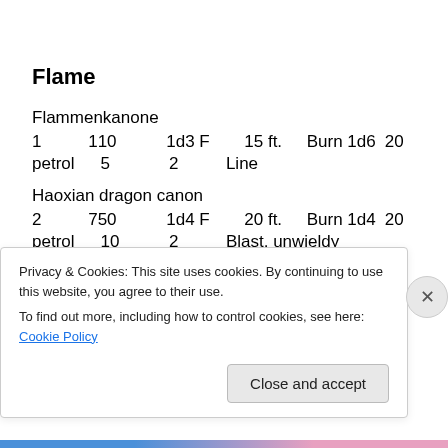Flame
| Flammenkanone |  |  |  |  |  |
| 1 | 110 | 1d3 F | 15 ft. | Burn 1d6 | 20 |
| petrol | 5 | 2 | Line |  |  |
| Haoxian dragon canon |  |  |  |  |  |
| 2 | 750 | 1d4 F | 20 ft. | Burn 1d4 | 20 |
| petrol | 10 | 2 | Blast, unwieldy |  |  |
Privacy & Cookies: This site uses cookies. By continuing to use this website, you agree to their use.
To find out more, including how to control cookies, see here: Cookie Policy
Close and accept